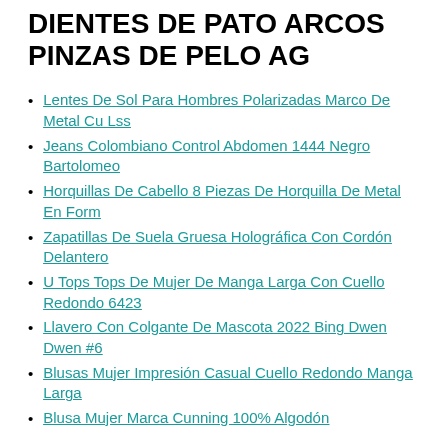DIENTES DE PATO ARCOS PINZAS DE PELO AG
Lentes De Sol Para Hombres Polarizadas Marco De Metal Cu Lss
Jeans Colombiano Control Abdomen 1444 Negro Bartolomeo
Horquillas De Cabello 8 Piezas De Horquilla De Metal En Form
Zapatillas De Suela Gruesa Holográfica Con Cordón Delantero
U Tops Tops De Mujer De Manga Larga Con Cuello Redondo 6423
Llavero Con Colgante De Mascota 2022 Bing Dwen Dwen #6
Blusas Mujer Impresión Casual Cuello Redondo Manga Larga
Blusa Mujer Marca Cunning 100% Algodón